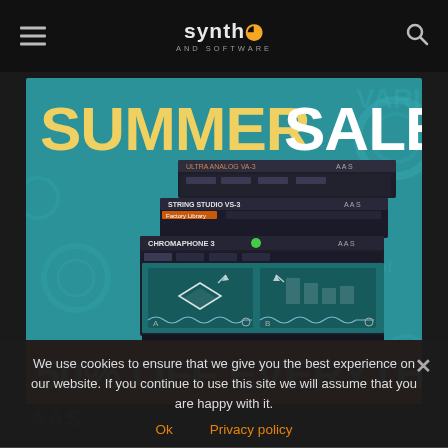synth and software
[Figure (screenshot): AAS Summer Sale promotional banner with 'SUMMER SALE' text in yellow/white, plugin UI screenshots (Ultra Analog VA-3, String Studio VS-3, Chromaphone 3), and '50% OFF EVERYTHING' red banner at bottom]
We use cookies to ensure that we give you the best experience on our website. If you continue to use this site we will assume that you are happy with it.
Ok   Privacy policy